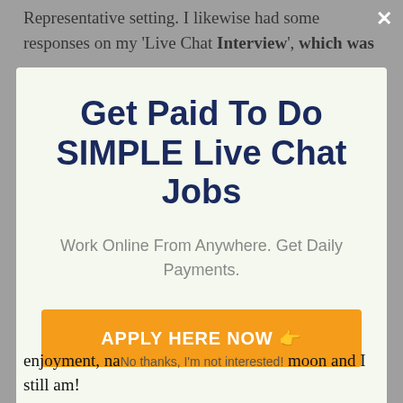Representative setting. I likewise had some responses on my 'Live Chat Interview', which was
[Figure (screenshot): Modal popup overlay on a webpage. Light greenish-white background modal with dark navy bold title 'Get Paid To Do SIMPLE Live Chat Jobs', gray subtitle 'Work Online From Anywhere. Get Daily Payments.', and an orange button 'APPLY HERE NOW' with pointing finger emoji. A white X close button is at top right of the overlay. Below the modal a dismiss link reads 'No thanks, I'm not interested!']
enjoyment, na... moon and I still am!